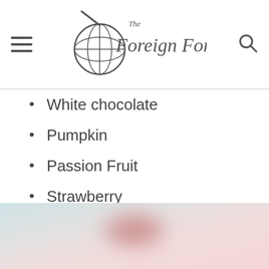The Foreign Fork
White chocolate
Pumpkin
Passion Fruit
Strawberry
Coconut
And more
[Figure (photo): Partially visible food photo at the bottom of the page, blurred, showing pinkish/reddish food item against a light teal/blue background.]